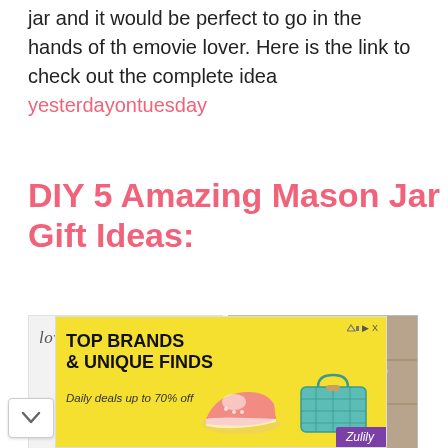jar and it would be perfect to go in the hands of th emovie lover. Here is the link to check out the complete idea yesterdayontuesday
DIY 5 Amazing Mason Jar Gift Ideas:
[Figure (photo): Two mason jar gift photos side by side: left shows a mason jar with red polka dot ribbon and handwritten 'loves to bake' text; right shows colored pencils in a jar with a grid lid]
[Figure (screenshot): Advertisement banner for Zulily: TOP BRANDS & UNIQUE FINDS, Daily deals up to 70% off, showing shoes and a teal purse on yellow background]